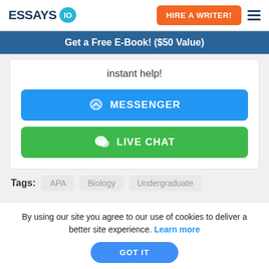[Figure (logo): Essays.io logo with speech bubble icon containing '10']
HIRE A WRITER!
Get a Free E-Book! ($50 Value)
instant help!
MESSENGER
LIVE CHAT
Tags:  APA  Biology  Undergraduate
By using our site you agree to our use of cookies to deliver a better site experience. Learn more
GOT IT